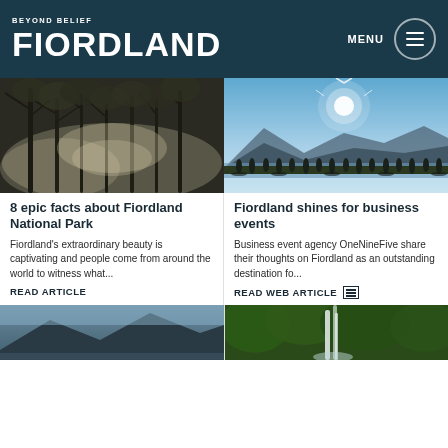BEYOND BELIEF FIORDLAND — MENU
[Figure (photo): Misty forest with bare trees in Fiordland, atmospheric fog through branches]
[Figure (photo): Group of people silhouetted against bright sunlight over a lake with mountains in background]
8 epic facts about Fiordland National Park
Fiordland shines for business events
Fiordland's extraordinary beauty is captivating and people come from around the world to witness what...
Business event agency OneNineFive share their thoughts on Fiordland as an outstanding destination fo...
READ ARTICLE
READ WEB ARTICLE
[Figure (photo): Partial view of a scenic Fiordland landscape, bottom left]
[Figure (photo): Waterfall in lush green Fiordland forest, bottom right]